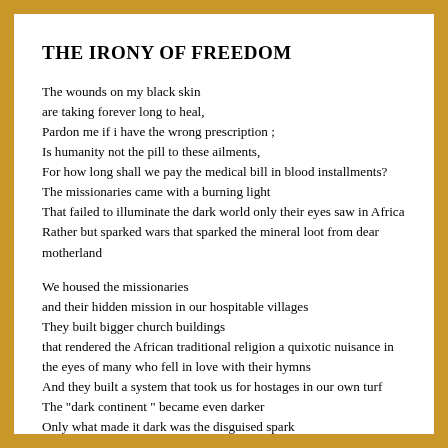THE IRONY OF FREEDOM
The wounds on my black skin
are taking forever long to heal,
Pardon me if i have the wrong prescription ;
Is humanity not the pill to these ailments,
For how long shall we pay the medical bill in blood installments?
The missionaries came with a burning light
That failed to illuminate the dark world only their eyes saw in Africa
Rather but sparked wars that sparked the mineral loot from dear motherland
We housed the missionaries
and their hidden mission in our hospitable villages
They built bigger church buildings
that rendered the African traditional religion a quixotic nuisance in the eyes of many who fell in love with their hymns
And they built a system that took us for hostages in our own turf
The "dark continent " became even darker
Only what made it dark was the disguised spark
And said of the African skin